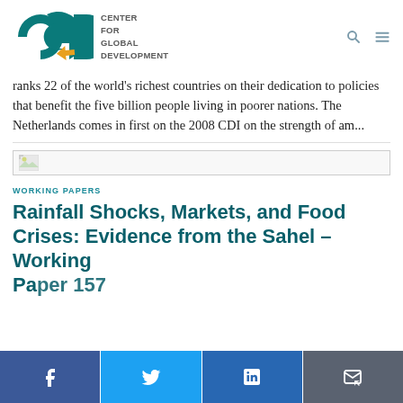CENTER FOR GLOBAL DEVELOPMENT
ranks 22 of the world's richest countries on their dedication to policies that benefit the five billion people living in poorer nations. The Netherlands comes in first on the 2008 CDI on the strength of am...
[Figure (other): Broken image placeholder thumbnail]
WORKING PAPERS
Rainfall Shocks, Markets, and Food Crises: Evidence from the Sahel – Working Paper 157
Facebook | Twitter | LinkedIn | Email